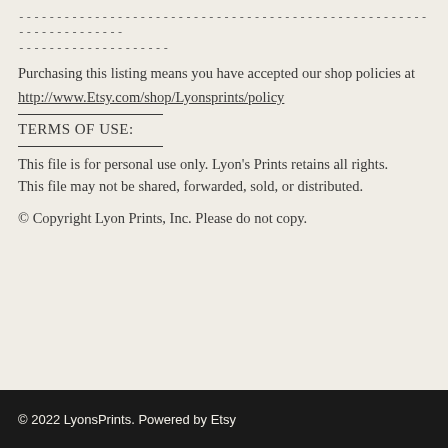-------------------------------------------------------------------- --------------------
Purchasing this listing means you have accepted our shop policies at http://www.Etsy.com/shop/Lyonsprints/policy
TERMS OF USE:
This file is for personal use only. Lyon's Prints retains all rights.
This file may not be shared, forwarded, sold, or distributed.
© Copyright Lyon Prints, Inc. Please do not copy.
© 2022 LyonsPrints. Powered by Etsy